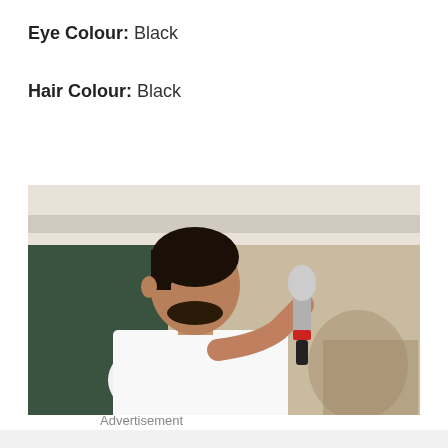Eye Colour: Black
Hair Colour: Black
[Figure (photo): A man in a white shirt holding a microphone, speaking at an event, photographed from the side in a room with a green board and light-colored ceiling.]
Advertisement